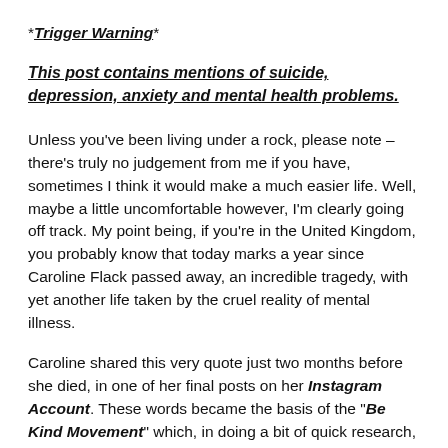*Trigger Warning*
This post contains mentions of suicide, depression, anxiety and mental health problems.
Unless you've been living under a rock, please note – there's truly no judgement from me if you have, sometimes I think it would make a much easier life. Well, maybe a little uncomfortable however, I'm clearly going off track. My point being, if you're in the United Kingdom, you probably know that today marks a year since Caroline Flack passed away, an incredible tragedy, with yet another life taken by the cruel reality of mental illness.
Caroline shared this very quote just two months before she died, in one of her final posts on her Instagram Account. These words became the basis of the "Be Kind Movement" which, in doing a bit of quick research, I've discovered the charity was actually formed in May 2015 by Premila Puri. However, with Caroline's tragic passing, it has heightened